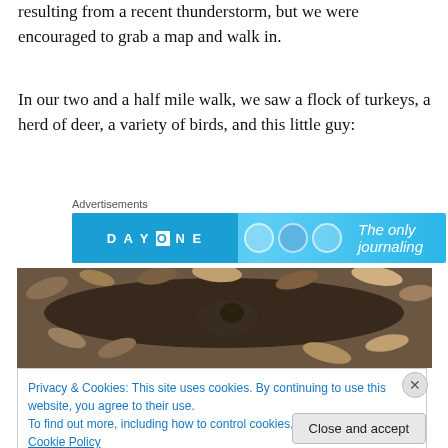...roads were closed or rerouted due to muddy areas, resulting from a recent thunderstorm, but we were encouraged to grab a map and walk in.
In our two and a half mile walk, we saw a flock of turkeys, a herd of deer, a variety of birds, and this little guy:
[Figure (screenshot): Advertisement banner for Day One journaling app with blue gradient background, showing 'DAY ONE' text and 'The only journaling' tagline]
[Figure (photo): Close-up photograph of an animal partially camouflaged in fallen autumn leaves on a forest floor]
Privacy & Cookies: This site uses cookies. By continuing to use this website, you agree to their use.
To find out more, including how to control cookies, see here: Cookie Policy
Close and accept